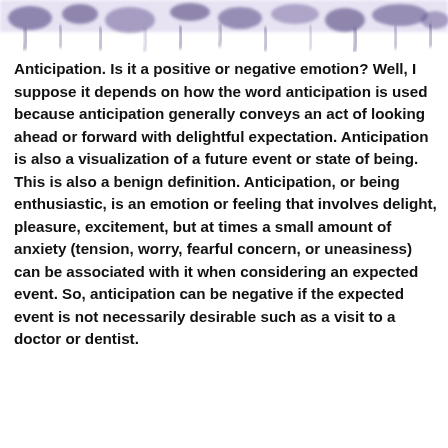[Figure (illustration): Decorative blurred purple/dark paint drip or ink splatter pattern along the top edge of the page]
Anticipation. Is it a positive or negative emotion? Well, I suppose it depends on how the word anticipation is used because anticipation generally conveys an act of looking ahead or forward with delightful expectation. Anticipation is also a visualization of a future event or state of being. This is also a benign definition. Anticipation, or being enthusiastic, is an emotion or feeling that involves delight, pleasure, excitement, but at times a small amount of anxiety (tension, worry, fearful concern, or uneasiness) can be associated with it when considering an expected  event. So, anticipation can be negative if the expected event is not necessarily desirable such as a visit to a doctor or dentist.